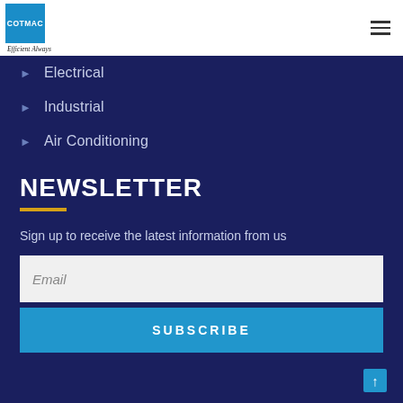[Figure (logo): COTMAC logo - blue square with white text and 'Efficient Always' tagline below]
Electrical
Industrial
Air Conditioning
NEWSLETTER
Sign up to receive the latest information from us
Email (input field placeholder)
SUBSCRIBE